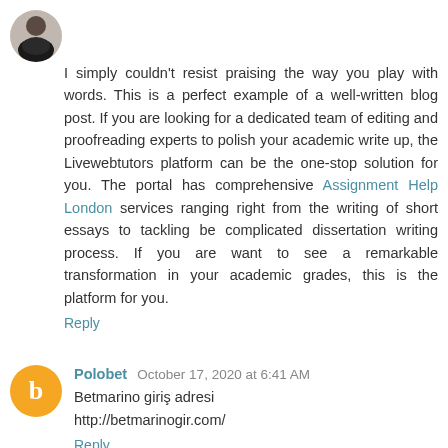I simply couldn't resist praising the way you play with words. This is a perfect example of a well-written blog post. If you are looking for a dedicated team of editing and proofreading experts to polish your academic write up, the Livewebtutors platform can be the one-stop solution for you. The portal has comprehensive Assignment Help London services ranging right from the writing of short essays to tackling be complicated dissertation writing process. If you are want to see a remarkable transformation in your academic grades, this is the platform for you.
Reply
Polobet  October 17, 2020 at 6:41 AM
Betmarino giriş adresi
http://betmarinogir.com/
Reply
Ishita Bajaj  October 18, 2020 at 11:22 PM